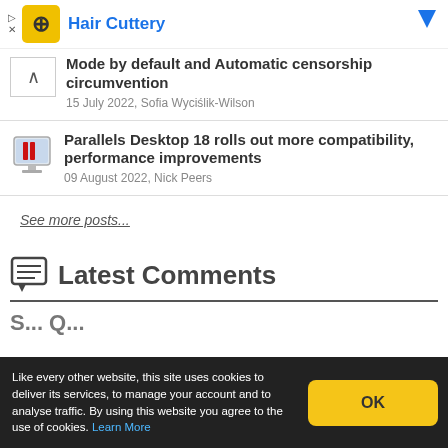[Figure (other): Hair Cuttery advertisement banner with yellow icon and blue text]
Mode by default and Automatic censorship circumvention
15 July 2022, Sofia Wyciślik-Wilson
Parallels Desktop 18 rolls out more compatibility, performance improvements
09 August 2022, Nick Peers
See more posts...
Latest Comments
Like every other website, this site uses cookies to deliver its services, to manage your account and to analyse traffic. By using this website you agree to the use of cookies. Learn More